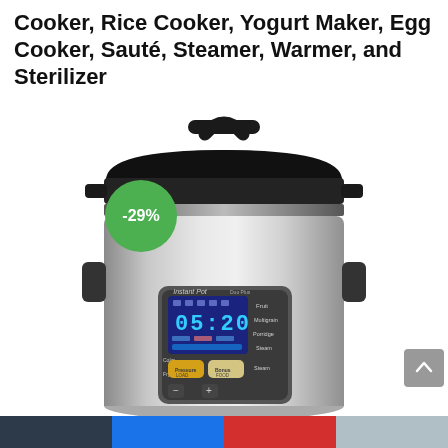Cooker, Rice Cooker, Yogurt Maker, Egg Cooker, Sauté, Steamer, Warmer, and Sterilizer
[Figure (photo): Instant Pot Duo Plus multi-function electric pressure cooker, silver/black stainless steel body with a blue LCD display showing 05:20, a green circular badge showing -29% discount, on a white background.]
Bottom navigation bar with dark, blue, red, and gray segments